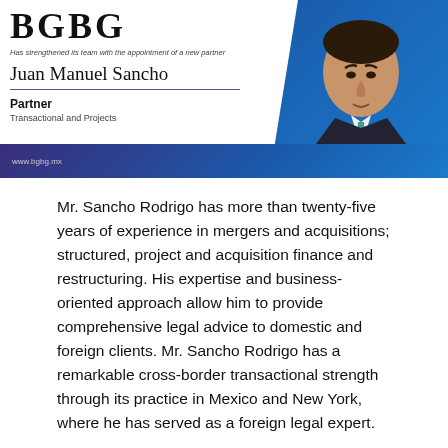[Figure (infographic): BGBG law firm banner with partner announcement. White card area on left showing firm logo (BGBG), tagline 'Has strengthened its team with the appointment of a new partner', name Juan Manuel Sancho, role Partner in Transactional and Projects. Blue/purple gradient background. Photo of Juan Manuel Sancho (man in dark suit with teal tie) on right side.]
Mr. Sancho Rodrigo has more than twenty-five years of experience in mergers and acquisitions; structured, project and acquisition finance and restructuring. His expertise and business-oriented approach allow him to provide comprehensive legal advice to domestic and foreign clients. Mr. Sancho Rodrigo has a remarkable cross-border transactional strength through its practice in Mexico and New York, where he has served as a foreign legal expert.
His...